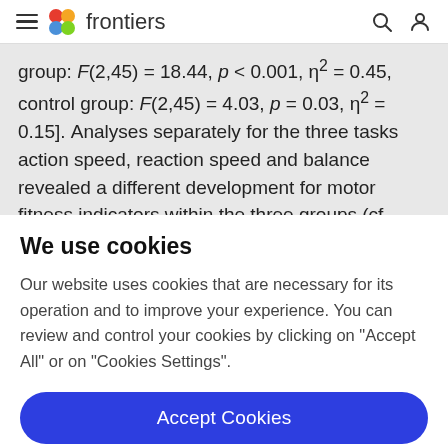frontiers
group: F(2,45) = 18.44, p < 0.001, η² = 0.45, control group: F(2,45) = 4.03, p = 0.03, η² = 0.15]. Analyses separately for the three tasks action speed, reaction speed and balance revealed a different development for motor fitness indicators within the three groups (cf.
We use cookies
Our website uses cookies that are necessary for its operation and to improve your experience. You can review and control your cookies by clicking on "Accept All" or on "Cookies Settings".
Accept Cookies
Cookies Settings